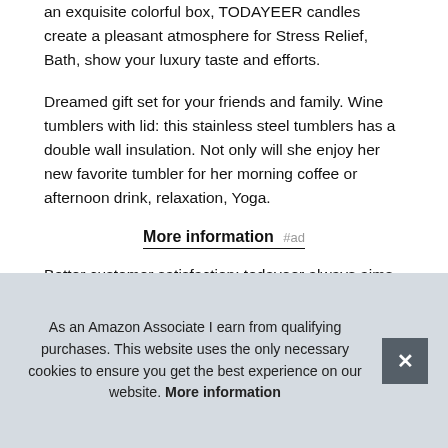an exquisite colorful box, TODAYEER candles create a pleasant atmosphere for Stress Relief, Bath, show your luxury taste and efforts.
Dreamed gift set for your friends and family. Wine tumblers with lid: this stainless steel tumblers has a double wall insulation. Not only will she enjoy her new favorite tumbler for her morning coffee or afternoon drink, relaxation, Yoga.
More information #ad
Better customer satisfaction: todayeer always aims to provide the best products and perfect service to our customers. We have tried out the candles and tumblers personally, it can relie... insu... the... the...
As an Amazon Associate I earn from qualifying purchases. This website uses the only necessary cookies to ensure you get the best experience on our website. More information